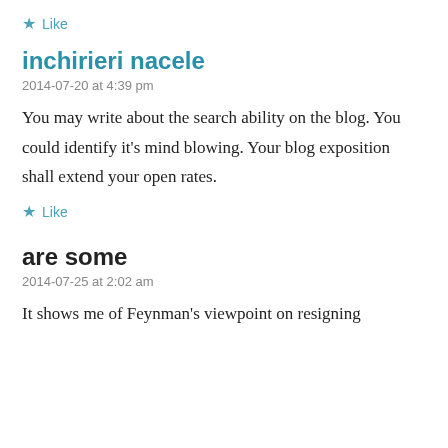★ Like
inchirieri nacele
2014-07-20 at 4:39 pm
You may write about the search ability on the blog. You could identify it's mind blowing. Your blog exposition shall extend your open rates.
★ Like
are some
2014-07-25 at 2:02 am
It shows me of Feynman's viewpoint on resigning